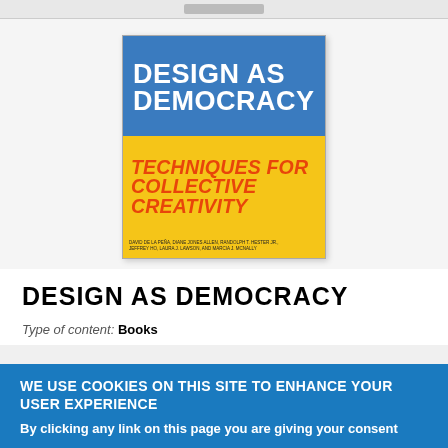[Figure (illustration): Book cover of 'Design as Democracy: Techniques for Collective Creativity' with blue top section showing title in white text, yellow/orange middle section showing subtitle in orange italic text, and author names at the bottom.]
DESIGN AS DEMOCRACY
Type of content: Books
WE USE COOKIES ON THIS SITE TO ENHANCE YOUR USER EXPERIENCE
By clicking any link on this page you are giving your consent